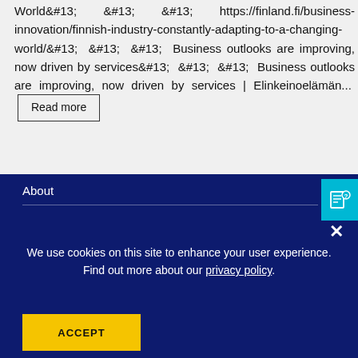World&#13; &#13; &#13; https://finland.fi/business-innovation/finnish-industry-constantly-adapting-to-a-changing-world/&#13; &#13; &#13; Business outlooks are improving, now driven by services&#13; &#13; &#13; Business outlooks are improving, now driven by services | Elinkeinoelämän... [Read more]
About
We use cookies on this site to enhance your user experience. Find out more about our privacy policy.